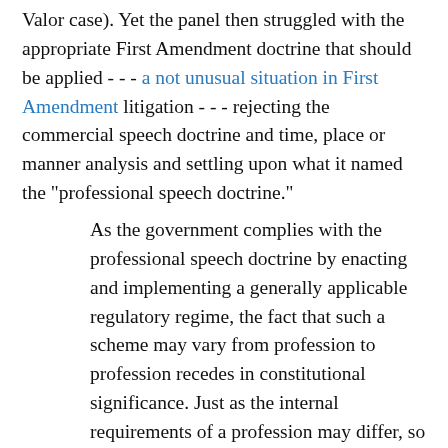Valor case). Yet the panel then struggled with the appropriate First Amendment doctrine that should be applied - - - a not unusual situation in First Amendment litigation - - - rejecting the commercial speech doctrine and time, place or manner analysis and settling upon what it named the "professional speech doctrine."
As the government complies with the professional speech doctrine by enacting and implementing a generally applicable regulatory regime, the fact that such a scheme may vary from profession to profession recedes in constitutional significance. Just as the internal requirements of a profession may differ, so may the government's regulatory response based on the nature of the activity and the need to protect the public. [citation omitted] With respect to an occupation such as fortune